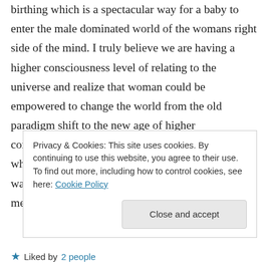birthing which is a spectacular way for a baby to enter the male dominated world of the womans right side of the mind. I truly believe we are having a higher consciousness level of relating to the universe and realize that woman could be empowered to change the world from the old paradigm shift to the new age of higher consciousness in the world. So Patty don't hold back what you truly mean where woman can also be warriors and be empowered with the same energy as men and we polarize our selves
Privacy & Cookies: This site uses cookies. By continuing to use this website, you agree to their use.
To find out more, including how to control cookies, see here: Cookie Policy
Close and accept
Liked by 2 people